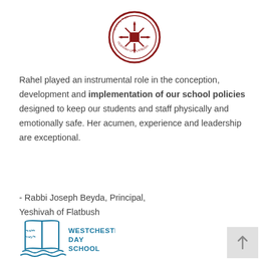[Figure (logo): Circular seal/logo of Yeshivah of Flatbush in dark red, with Hebrew text and decorative snowflake-like pattern in center]
Rahel played an instrumental role in the conception, development and implementation of our school policies designed to keep our students and staff physically and emotionally safe. Her acumen, experience and leadership are exceptional.
- Rabbi Joseph Beyda, Principal, Yeshivah of Flatbush
[Figure (logo): Westchester Day School logo with open book icon in blue and Hebrew/English text]